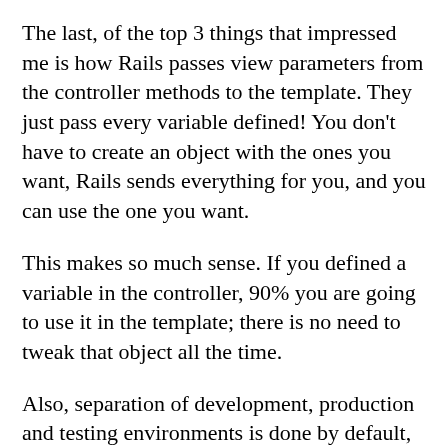The last, of the top 3 things that impressed me is how Rails passes view parameters from the controller methods to the template. They just pass every variable defined! You don't have to create an object with the ones you want, Rails sends everything for you, and you can use the one you want.
This makes so much sense. If you defined a variable in the controller, 90% you are going to use it in the template; there is no need to tweak that object all the time.
Also, separation of development, production and testing environments is done by default, which is neat.
The things I didn't like include the quite complex templating language, especially for forms (more details below) and the fact that Rails is very keen on breaking changes. This also makes googling very annoying because you don't know if that specific StackOverflow answer works for 5.X version